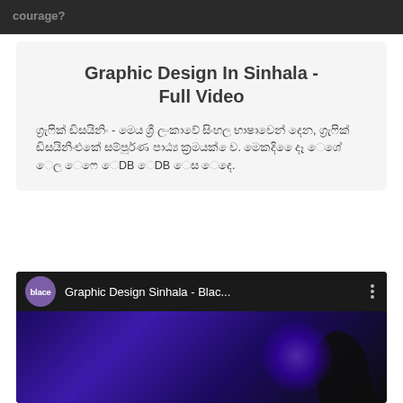courage?
Graphic Design In Sinhala - Full Video
ග්‍රැෆික් ඩිසයිනිං - මෙය ශ්‍රී ලංකාවේ සිංහල භාෂාවෙන් දෙන, ග්‍රැෆික් ඩිසයිනිංඑකේ සම්පූර්ණ පා ‍‌ෙඨ්‍ය ‍‌ෙකෝෂ ‍‌ෙදෙයක් ‍‌ෙව. ‍‍‌ෙමෙකදි‍‌ෙගෑ ෆ ‍‌ෙදෑ ‍‌ෙශේ ‍‌ෙෆ ‍‌ෙDBMS‍‌ෙදෙ ‍‌ෙදෙ.
[Figure (screenshot): YouTube video embed showing 'Graphic Design Sinhala - Blac...' with a purple/dark thumbnail featuring a blac logo channel icon]